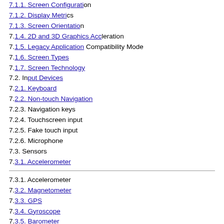7.1.1. Screen Configuration
7.1.2. Display Metrics
7.1.3. Screen Orientation
7.1.4. 2D and 3D Graphics Acceleration
7.1.5. Legacy Application Compatibility Mode
7.1.6. Screen Types
7.1.7. Screen Technology
7.2. Input Devices
7.2.1. Keyboard
7.2.2. Non-touch Navigation
7.2.3. Navigation keys
7.2.4. Touchscreen input
7.2.5. Fake touch input
7.2.6. Microphone
7.3. Sensors
7.3.1. Accelerometer
7.3.1. Accelerometer
7.3.2. Magnetometer
7.3.3. GPS
7.3.4. Gyroscope
7.3.5. Barometer
7.3.6. Thermometer
7.3.7. Photometer
7.3.8. Proximity Sensor